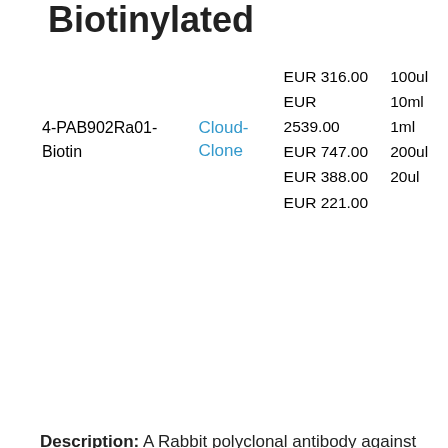Biotinylated
| ID | Vendor | Price | Size |
| --- | --- | --- | --- |
| 4-PAB902Ra01-Biotin | Cloud-Clone | EUR 316.00
EUR 2539.00
EUR 747.00
EUR 388.00
EUR 221.00 | 100ul
10ml
1ml
200ul
20ul |
Description: A Rabbit polyclonal antibody against Rat Cadherin, Heart (CDHH). This antibody is labeled with Biotin.
[Figure (photo): Grayscale product image with label 'HeartCDHH Polyclonal Antibody (Ra)']
Cadherin, Heart (CDHH) Polyclonal Antibody (Rat),